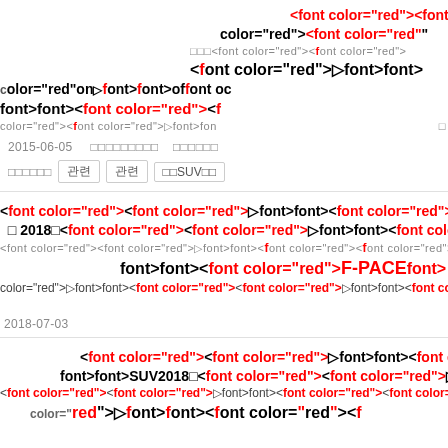<font color="red"><font color="red">…font>font><font color="red"><fo color="red"><font color="red">…font>fo… <font color="red">▷font>font> color="red"on…font>font><font color="red"><f color="red">▷font>fo…font>font><font color="red"><fo 2015-06-05 □□□□□□□□ □□□□□□ □□□□□□ 관련 □□ 관련 □□SUV□□
<font color="red"><font color="red">▷font>font><font color="red"><fon … 및 2018□<font color="red"><font color="red">▷font>font><font color="red"> <font color="red"><font color="red">▷font>font><font color="font color="red">▷font>font><font color="red"> font>font><font color="red">F-PACE font>… color="red">▷font>font><font color="red"><font color="red">▷font>font><font color="red"> 2018-07-03
<font color="red"><font color="red">▷font>font><font color="re… font>font>SUV2018□<font color="red"><font color="red">▷font>font><font color="red">▷f <font color="red"><font color="red">▷font>font><font color="red"> <font color="re… color= red >▷font>font><font color= red >…